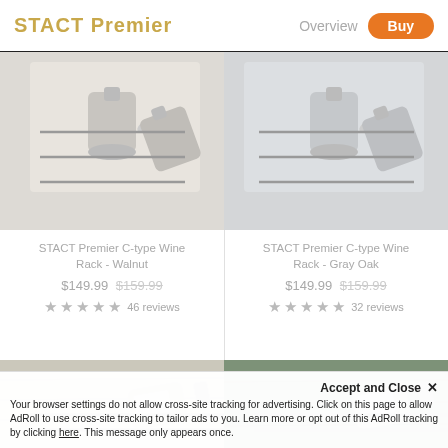STACT Premier | Overview  Buy
[Figure (photo): STACT Premier C-type Wine Rack - Walnut, top product photo showing wine bottles on rack]
[Figure (photo): STACT Premier C-type Wine Rack - Gray Oak, top product photo showing wine bottles on rack]
STACT Premier C-type Wine Rack - Walnut
$149.99 $159.99 ★★★★★ 46 reviews
STACT Premier C-type Wine Rack - Gray Oak
$149.99 $159.99 ★★★★★ 32 reviews
[Figure (photo): STACT Premier C-type Wine Rack - Walnut, bottom product photo, close-up of rack]
[Figure (photo): STACT Premier C-type Wine Rack - Gray Oak, bottom product photo, close-up of rack]
Accept and Close ✕
Your browser settings do not allow cross-site tracking for advertising. Click on this page to allow AdRoll to use cross-site tracking to tailor ads to you. Learn more or opt out of this AdRoll tracking by clicking here. This message only appears once.